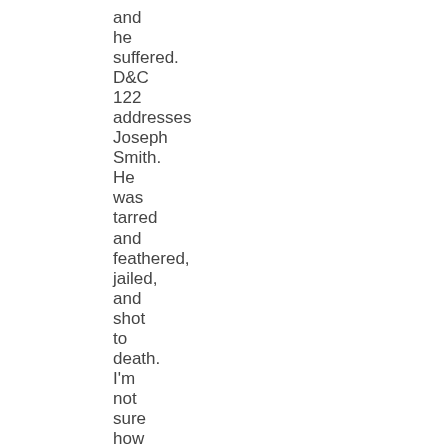and he suffered. D&C 122 addresses Joseph Smith. He was tarred and feathered, jailed, and shot to death. I'm not sure how much he sinned, but I'm